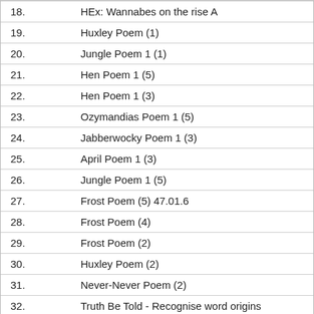18. HEx: Wannabes on the rise A
19. Huxley Poem (1)
20. Jungle Poem 1 (1)
21. Hen Poem 1 (5)
22. Hen Poem 1 (3)
23. Ozymandias Poem 1 (5)
24. Jabberwocky Poem 1 (3)
25. April Poem 1 (3)
26. Jungle Poem 1 (5)
27. Frost Poem (5) 47.01.6
28. Frost Poem (4)
29. Frost Poem (2)
30. Huxley Poem (2)
31. Never-Never Poem (2)
32. Truth Be Told - Recognise word origins